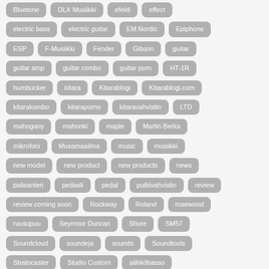Bluetone
DLX Musiikki
efekti
effect
electric bass
electric guitar
EM Nordic
Epiphone
ESP
F-Musiikki
Fender
Gibson
guitar
guitar amp
guitar combo
guitar porn
HT-1R
humbucker
kitara
Kitarablogi
Kitarablogi.com
kitarakombo
kitaraporno
kitaravahvistin
LTD
mahogany
mahonki
maple
Martin Berka
mikrofoni
Musamaailma
music
musiikki
new model
new product
new products
news
palisanteri
pedaali
pedal
putkivahvistin
review
review coming soon
Rockway
Roland
rosewood
ruusupuu
Seymour Duncan
Shure
SM57
Soundcloud
soundeja
sounds
Soundtools
Stratocaster
Studio Custom
sähköbasso
sähkökitara
Taalavood
Telecaster
teräskielinen